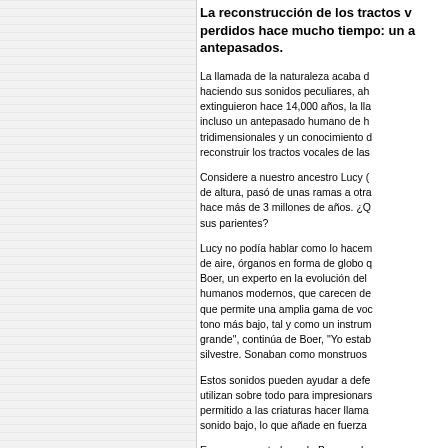La reconstrucción de los tractos vocales perdidos hace mucho tiempo: un acercamiento a nuestros antepasados.
La llamada de la naturaleza acaba de haciendo sus sonidos peculiares, ah extinguieron hace 14,000 años, la lla incluso un antepasado humano de h tridimensionales y un conocimiento d reconstruir los tractos vocales de las
Considere a nuestro ancestro Lucy ( de altura, pasó de unas ramas a otra hace más de 3 millones de años. ¿Q sus parientes?
Lucy no podía hablar como lo hacem de aire, órganos en forma de globo q Boer, un experto en la evolución del humanos modernos, que carecen de que permite una amplia gama de voc tono más bajo, tal y como un instrum grande", continúa de Boer, "Yo estab silvestre. Sonaban como monstruos
Estos sonidos pueden ayudar a defe utilizan sobre todo para impresionarse permitido a las criaturas hacer llama sonido bajo, lo que añade en fuerza
En una computadora, de Boer mode modelo real de un tracto vocal de un cámara para imitar un saco de aire. y encontró que los oyentes de la pru aire estaban presentes que cuando n